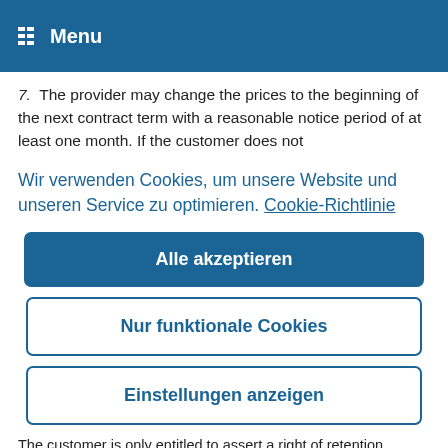Menu
7. The provider may change the prices to the beginning of the next contract term with a reasonable notice period of at least one month. If the customer does not
Wir verwenden Cookies, um unsere Website und unseren Service zu optimieren. Cookie-Richtlinie
Alle akzeptieren
Nur funktionale Cookies
Einstellungen anzeigen
The customer is only entitled to assert a right of retention